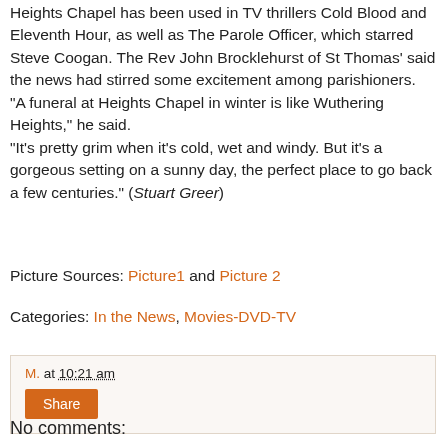Heights Chapel has been used in TV thrillers Cold Blood and Eleventh Hour, as well as The Parole Officer, which starred Steve Coogan. The Rev John Brocklehurst of St Thomas' said the news had stirred some excitement among parishioners. "A funeral at Heights Chapel in winter is like Wuthering Heights," he said. "It's pretty grim when it's cold, wet and windy. But it's a gorgeous setting on a sunny day, the perfect place to go back a few centuries." (Stuart Greer)
Picture Sources: Picture1 and Picture 2
Categories: In the News, Movies-DVD-TV
M. at 10:21 am
Share
No comments: